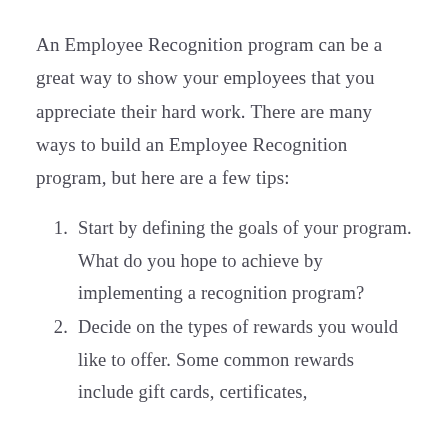An Employee Recognition program can be a great way to show your employees that you appreciate their hard work. There are many ways to build an Employee Recognition program, but here are a few tips:
1. Start by defining the goals of your program. What do you hope to achieve by implementing a recognition program?
2. Decide on the types of rewards you would like to offer. Some common rewards include gift cards, certificates,